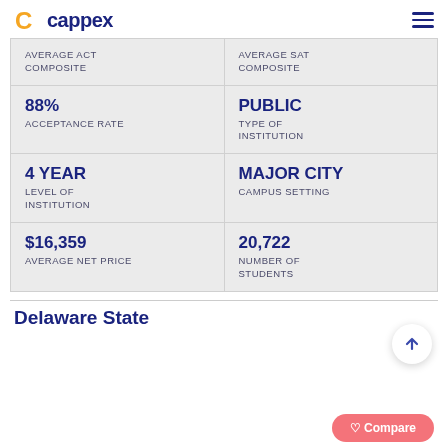cappex
| Left | Right |
| --- | --- |
| AVERAGE ACT COMPOSITE | AVERAGE SAT COMPOSITE |
| 88% ACCEPTANCE RATE | PUBLIC TYPE OF INSTITUTION |
| 4 YEAR LEVEL OF INSTITUTION | MAJOR CITY CAMPUS SETTING |
| $16,359 AVERAGE NET PRICE | 20,722 NUMBER OF STUDENTS |
Delaware State